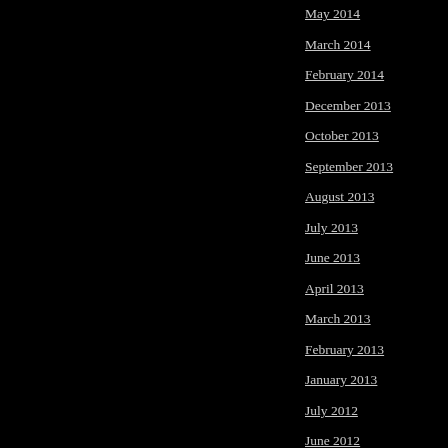May 2014
March 2014
February 2014
December 2013
October 2013
September 2013
August 2013
July 2013
June 2013
April 2013
March 2013
February 2013
January 2013
July 2012
June 2012
June 2011